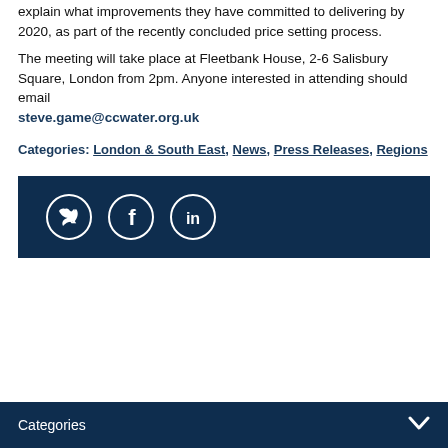explain what improvements they have committed to delivering by 2020, as part of the recently concluded price setting process.
The meeting will take place at Fleetbank House, 2-6 Salisbury Square, London from 2pm. Anyone interested in attending should email steve.game@ccwater.org.uk
Categories: London & South East, News, Press Releases, Regions
[Figure (infographic): Dark navy social media bar with circular Twitter, Facebook, and LinkedIn icons]
Categories